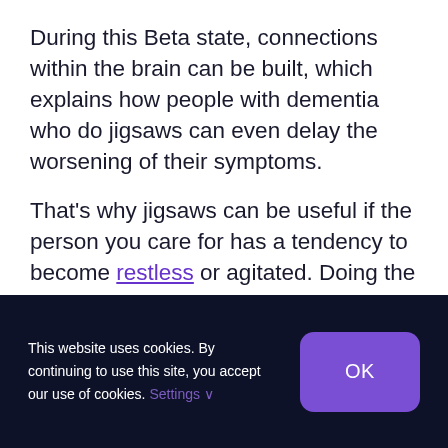During this Beta state, connections within the brain can be built, which explains how people with dementia who do jigsaws can even delay the worsening of their symptoms.
That's why jigsaws can be useful if the person you care for has a tendency to become restless or agitated. Doing the puzzle requires their full concentration and so
This website uses cookies. By continuing to use this site, you accept our use of cookies. Settings